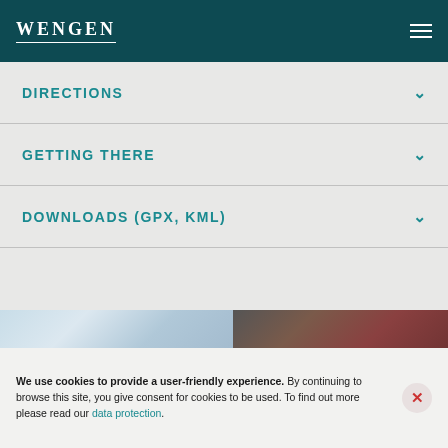WENGEN
DIRECTIONS
GETTING THERE
DOWNLOADS (GPX, KML)
[Figure (photo): Outdoor mountain/ski scene with a person in a pink jacket against a snowy mountain background]
We use cookies to provide a user-friendly experience. By continuing to browse this site, you give consent for cookies to be used. To find out more please read our data protection.